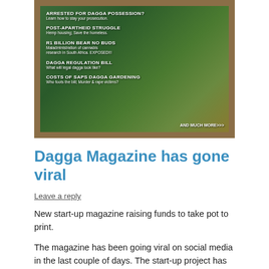[Figure (photo): Magazine cover for Dagga Magazine showing close-up of cannabis plant with article headlines overlaid on image. Headlines include: ARRESTED FOR DAGGA POSSESSION?, POST-APARTHEID STRUGGLE, R1 BILLION BEAR NO BUDS, DAGGA REGULATION BILL, COSTS OF SAPS DAGGA GARDENING, AND MUCH MORE>>>]
Dagga Magazine has gone viral
Leave a reply
New start-up magazine raising funds to take pot to print.
The magazine has been going viral on social media in the last couple of days. The start-up project has managed to raise about R2000 of R80 000 in crowd funding, from 5 sponsors,